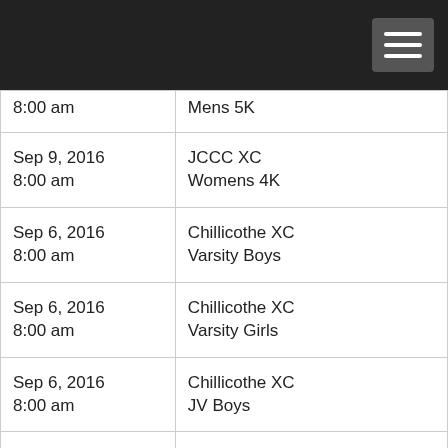| Date/Time | Event |
| --- | --- |
| 8:00 am | Mens 5K |
| Sep 9, 2016
8:00 am | JCCC XC
Womens 4K |
| Sep 6, 2016
8:00 am | Chillicothe XC
Varsity Boys |
| Sep 6, 2016
8:00 am | Chillicothe XC
Varsity Girls |
| Sep 6, 2016
8:00 am | Chillicothe XC
JV Boys |
| Sep 6, 2016
8:00 am | Chillicothe XC
JV Girls |